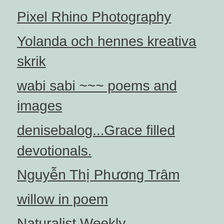Pixel Rhino Photography
Yolanda och hennes kreativa skrik
wabi sabi ~~~ poems and images
denisebalog...Grace filled devotionals.
Nguyễn Thị Phương Trâm
willow in poem
Naturalist Weekly
sharifa vernice meytung
commonsensiblyspeaking
Poetry Owl
skyenatureblog
Kaz Ess
Bella's Blog